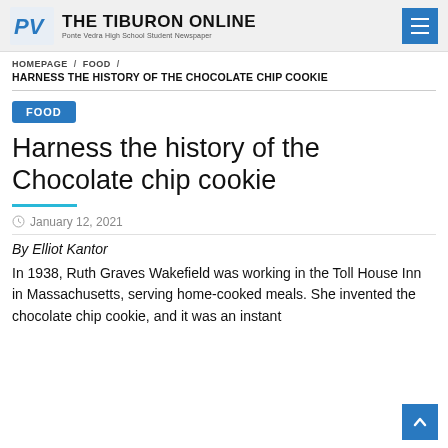THE TIBURON ONLINE — Ponte Vedra High School Student Newspaper
HOMEPAGE / FOOD /
HARNESS THE HISTORY OF THE CHOCOLATE CHIP COOKIE
FOOD
Harness the history of the Chocolate chip cookie
January 12, 2021
By Elliot Kantor
In 1938, Ruth Graves Wakefield was working in the Toll House Inn in Massachusetts, serving home-cooked meals. She invented the chocolate chip cookie, and it was an instant